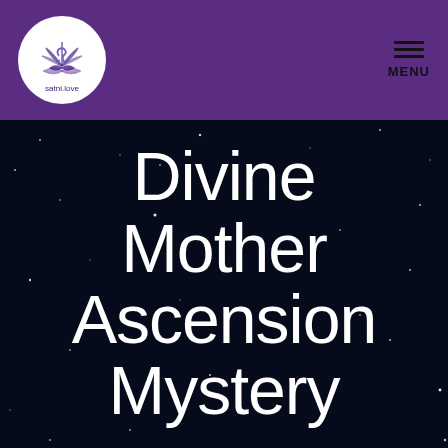satni.love | MENU
[Figure (logo): Circular white logo with a lotus/spiritual symbol in blue-purple and text 'satni.love' below it]
Divine Mother Ascension Mystery